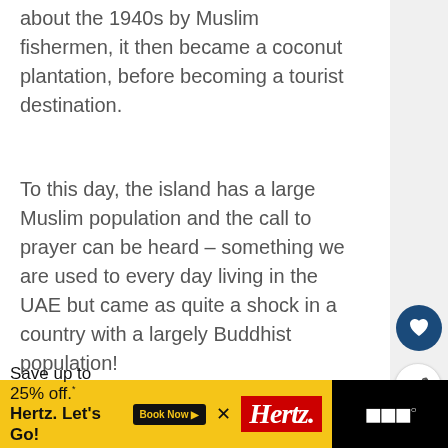about the 1940s by Muslim fishermen, it then became a coconut plantation, before becoming a tourist destination.
To this day, the island has a large Muslim population and the call to prayer can be heard – something we are used to every day living in the UAE but came as quite a shock in a country with a largely Buddhist population!
[Figure (screenshot): What's Next promo box with thumbnail image of a beach/ocean scene and text 'Phuket - what happened to...']
[Figure (screenshot): Hertz advertisement banner: 'Save up to 25% off. Hertz. Let's Go! *Taxes and fees excluded Terms apply.' with Book Now button and Hertz logo]